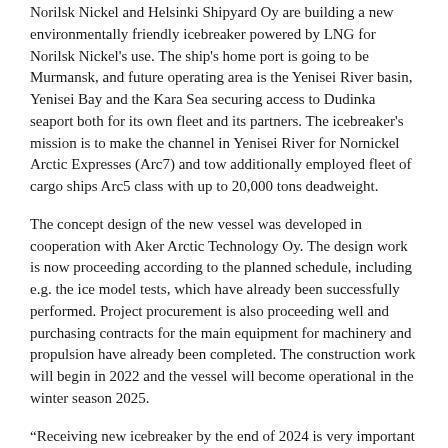Norilsk Nickel and Helsinki Shipyard Oy are building a new environmentally friendly icebreaker powered by LNG for Norilsk Nickel's use. The ship's home port is going to be Murmansk, and future operating area is the Yenisei River basin, Yenisei Bay and the Kara Sea securing access to Dudinka seaport both for its own fleet and its partners. The icebreaker's mission is to make the channel in Yenisei River for Nornickel Arctic Expresses (Arc7) and tow additionally employed fleet of cargo ships Arc5 class with up to 20,000 tons deadweight.
The concept design of the new vessel was developed in cooperation with Aker Arctic Technology Oy. The design work is now proceeding according to the planned schedule, including e.g. the ice model tests, which have already been successfully performed. Project procurement is also proceeding well and purchasing contracts for the main equipment for machinery and propulsion have already been completed. The construction work will begin in 2022 and the vessel will become operational in the winter season 2025.
“Receiving new icebreaker by the end of 2024 is very important for Nornickel as it provides additional transportation capacities needed to implement both our strategic investment projects including the city of Norilsk renovation plans. And we are happy to declare that it’s going to be fueled by LNG which goes in line with current environmental trends on decarbonization and will be a pioneer icebreaker on LNG exploited at Northern Sea Route,” said Senior Vice President of Norilsk Nickel Sergey